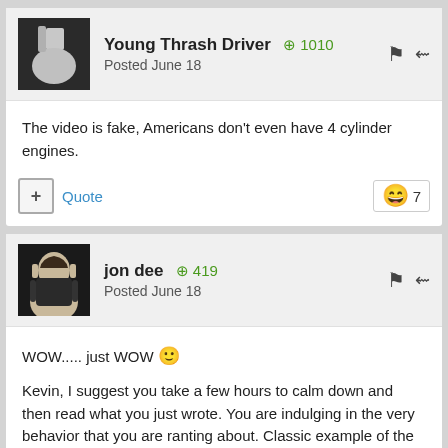Young Thrash Driver +1010 Posted June 18
The video is fake, Americans don't even have 4 cylinder engines.
jon dee +419 Posted June 18
WOW..... just WOW 😀

Kevin, I suggest you take a few hours to calm down and then read what you just wrote. You are indulging in the very behavior that you are ranting about. Classic example of the Straw Man Fallacy... you make assumptions and unfounded assertions and then attack them 😀

All good. But to get back on topic, the fundamental justification for stop-